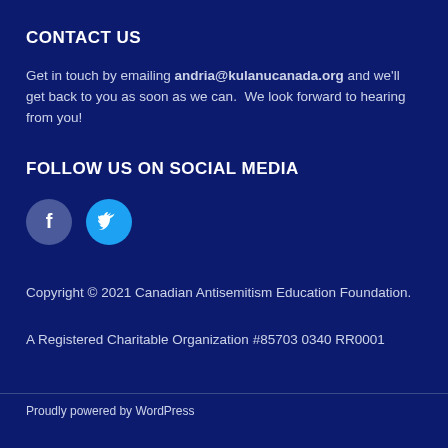CONTACT US
Get in touch by emailing andria@kulanucanada.org and we'll get back to you as soon as we can.  We look forward to hearing from you!
FOLLOW US ON SOCIAL MEDIA
[Figure (illustration): Two circular social media icon buttons: a dark blue Facebook icon and a light blue Twitter bird icon]
Copyright © 2021 Canadian Antisemitism Education Foundation.

A Registered Charitable Organization #85703 0340 RR0001
Proudly powered by WordPress